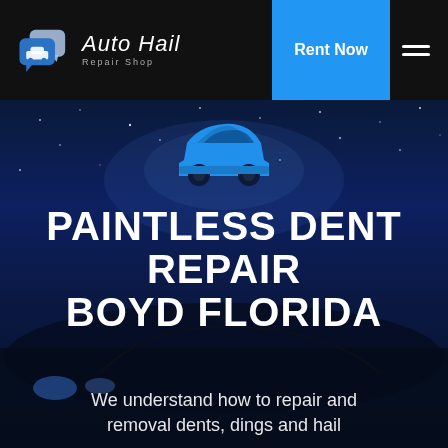[Figure (logo): Auto Hail Repair logo with two overlapping speech bubble icons and cursive text 'Auto Hail' with subtitle 'Repair Shop']
Rent Now
[Figure (illustration): Website hero section with dark night sky background, stars, blue car icon silhouette at top, and dark car image at bottom]
PAINTLESS DENT REPAIR BOYD FLORIDA
We understand how to repair and removal dents, dings and hail